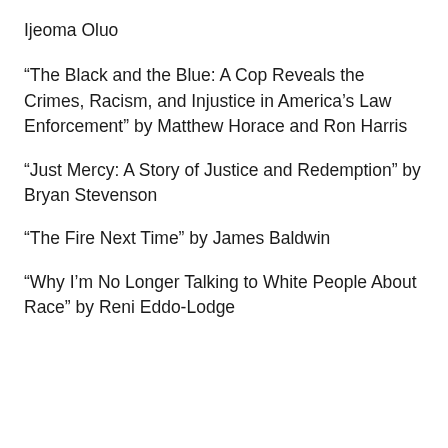Ijeoma Oluo
“The Black and the Blue: A Cop Reveals the Crimes, Racism, and Injustice in America’s Law Enforcement” by Matthew Horace and Ron Harris
“Just Mercy: A Story of Justice and Redemption” by Bryan Stevenson
“The Fire Next Time” by James Baldwin
“Why I’m No Longer Talking to White People About Race” by Reni Eddo-Lodge